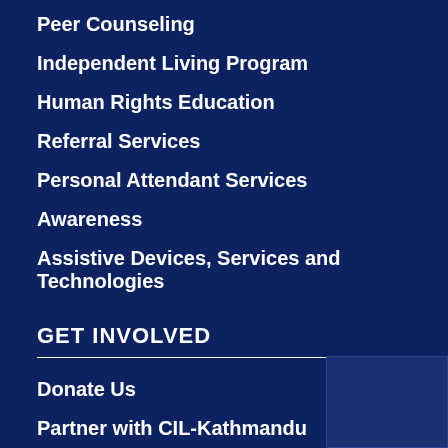Peer Counseling
Independent Living Program
Human Rights Education
Referral Services
Personal Attendant Services
Awareness
Assistive Devices, Services and Technologies
GET INVOLVED
Donate Us
Partner with CIL-Kathmandu
Fundraise
Advocate